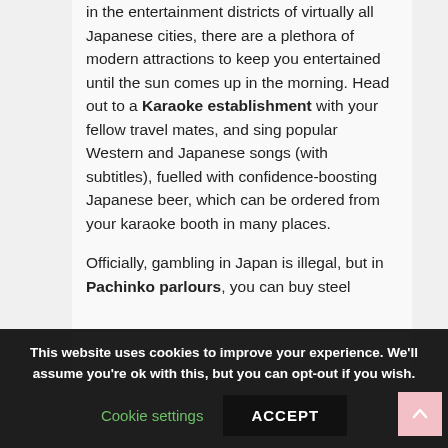in the entertainment districts of virtually all Japanese cities, there are a plethora of modern attractions to keep you entertained until the sun comes up in the morning. Head out to a Karaoke establishment with your fellow travel mates, and sing popular Western and Japanese songs (with subtitles), fuelled with confidence-boosting Japanese beer, which can be ordered from your karaoke booth in many places.

Officially, gambling in Japan is illegal, but in Pachinko parlours, you can buy steel
This website uses cookies to improve your experience. We'll assume you're ok with this, but you can opt-out if you wish.